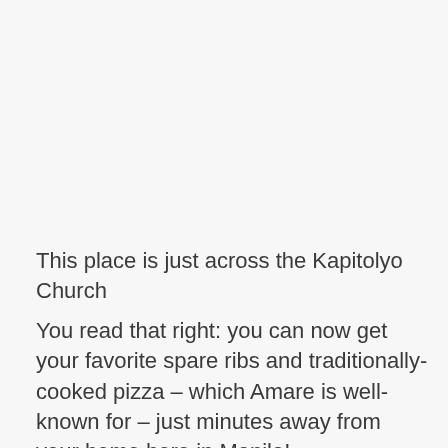This place is just across the Kapitolyo Church
You read that right: you can now get your favorite spare ribs and traditionally-cooked pizza – which Amare is well-known for – just minutes away from your home here in Manila!
ADVERTISEMENT
[Figure (other): Advertisement placeholder box]